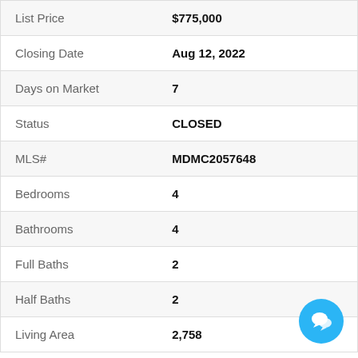| Field | Value |
| --- | --- |
| List Price | $775,000 |
| Closing Date | Aug 12, 2022 |
| Days on Market | 7 |
| Status | CLOSED |
| MLS# | MDMC2057648 |
| Bedrooms | 4 |
| Bathrooms | 4 |
| Full Baths | 2 |
| Half Baths | 2 |
| Living Area | 2,758 |